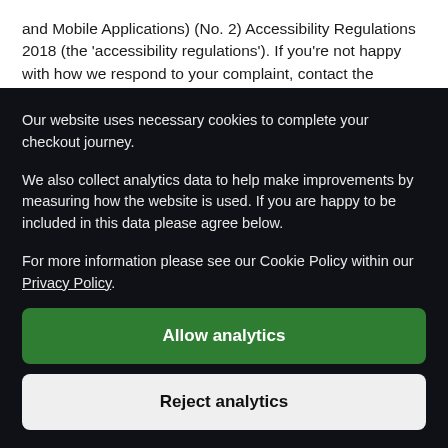and Mobile Applications) (No. 2) Accessibility Regulations 2018 (the 'accessibility regulations'). If you're not happy with how we respond to your complaint, contact the Equality Advisory and Support Service (EASS).
Our website uses necessary cookies to complete your checkout journey.
We also collect analytics data to help make improvements by measuring how the website is used. If you are happy to be included in this data please agree below.
For more information please see our Cookie Policy within our Privacy Policy.
Allow analytics
Reject analytics